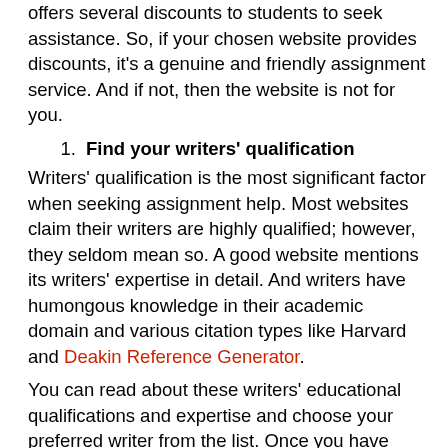offers several discounts to students to seek assistance. So, if your chosen website provides discounts, it's a genuine and friendly assignment service. And if not, then the website is not for you.
Find your writers' qualification
Writers' qualification is the most significant factor when seeking assignment help. Most websites claim their writers are highly qualified; however, they seldom mean so. A good website mentions its writers' expertise in detail. And writers have humongous knowledge in their academic domain and various citation types like Harvard and Deakin Reference Generator.
You can read about these writers' educational qualifications and expertise and choose your preferred writer from the list. Once you have selected a writer, you can place your order and seek assignment assistance from the website. So, you can understand that there are